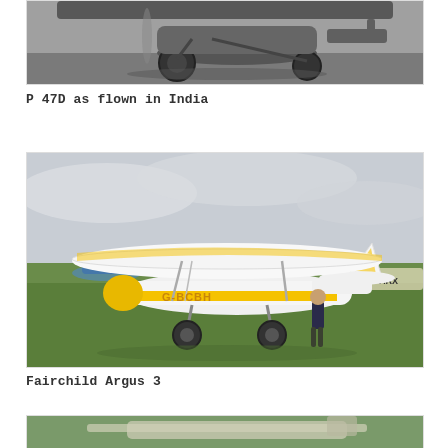[Figure (photo): Black and white photograph of a P 47D aircraft as flown in India, partial top portion visible showing undercarriage and fuselage on ground]
P 47D as flown in India
[Figure (photo): Color photograph of a Fairchild Argus 3 light aircraft with yellow and white color scheme, registration G-BCBH, parked on grass airfield with a person standing beside it and other aircraft in background]
Fairchild Argus 3
[Figure (photo): Partial bottom photograph showing another aircraft, partially cropped, green tones suggesting color photo]